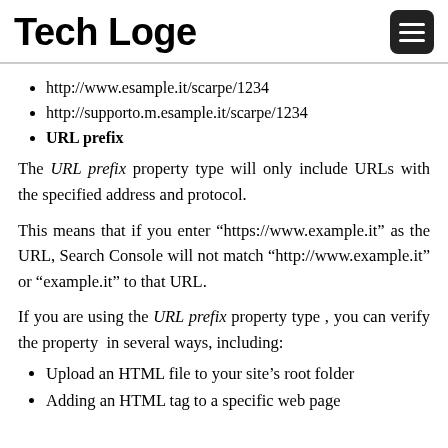Tech Loge
http://www.esample.it/scarpe/1234
http://supporto.m.esample.it/scarpe/1234
URL prefix
The URL prefix property type will only include URLs with the specified address and protocol.
This means that if you enter “https://www.example.it” as the URL, Search Console will not match “http://www.example.it” or “example.it” to that URL.
If you are using the URL prefix property type , you can verify the property  in several ways, including:
Upload an HTML file to your site’s root folder
Adding an HTML tag to a specific web page